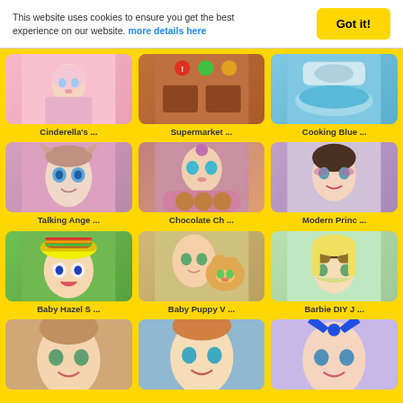This website uses cookies to ensure you get the best experience on our website. more details here
[Figure (screenshot): Grid of girls game thumbnails: Cinderella's, Supermarket, Cooking Blue, Talking Ange, Chocolate Ch, Modern Princ, Baby Hazel S, Baby Puppy V, Barbie DIY J, and three partially visible bottom row thumbnails]
Cinderella's ...
Supermarket ...
Cooking Blue ...
Talking Ange ...
Chocolate Ch ...
Modern Princ ...
Baby Hazel S ...
Baby Puppy V ...
Barbie DIY J ...